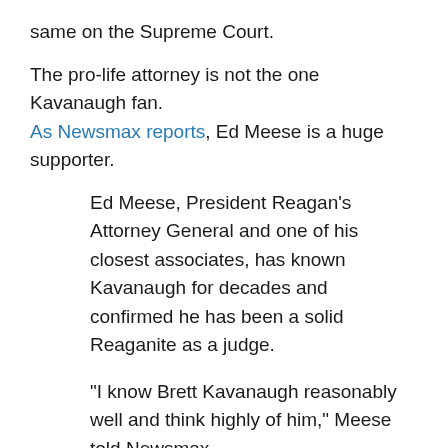same on the Supreme Court.
The pro-life attorney is not the one Kavanaugh fan. As Newsmax reports, Ed Meese is a huge supporter.
Ed Meese, President Reagan’s Attorney General and one of his closest associates, has known Kavanaugh for decades and confirmed he has been a solid Reaganite as a judge.
“I know Brett Kavanaugh reasonably well and think highly of him,” Meese told Newsmax.
“He is a very able guy, an originalist who is faithful to the Constitution and believes in it.”
So where does Kavanaugh come down on pro-life